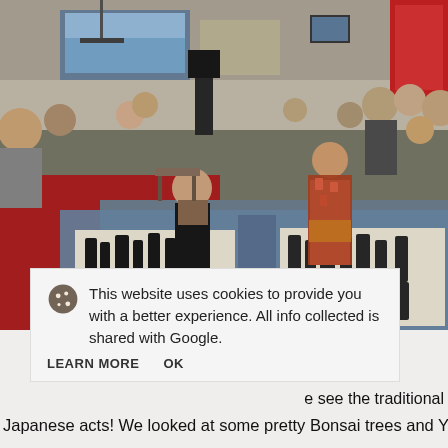[Figure (photo): Indoor event or expo hall scene. Two women are on a large blue tarp floor area with long white paper scrolls featuring large black ink calligraphy/painting. One woman wears a black dress, another wears a traditional Japanese orange/red kimono (yukata). In the background, a crowded convention space with booths, banners, speakers, and many attendees.]
This website uses cookies to provide you with a better experience. All info collected is shared with Google.
LEARN MORE    OK
e see the traditional
Japanese acts! We looked at some pretty Bonsai trees and Yukata and